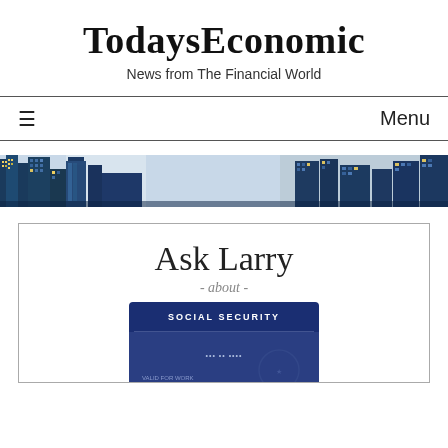TodaysEconomic
News from The Financial World
≡   Menu
[Figure (photo): Wide banner photo of city skyscrapers and financial district buildings at dusk/night with blue tones]
[Figure (photo): Article card showing 'Ask Larry - about - Social Security' with a Social Security card image]